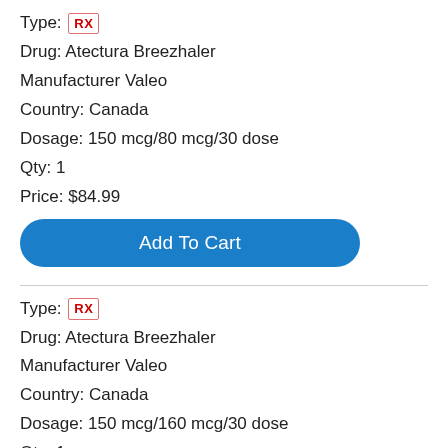Type: RX
Drug: Atectura Breezhaler
Manufacturer Valeo
Country: Canada
Dosage: 150 mcg/80 mcg/30 dose
Qty: 1
Price: $84.99
Add To Cart
Type: RX
Drug: Atectura Breezhaler
Manufacturer Valeo
Country: Canada
Dosage: 150 mcg/160 mcg/30 dose
Qty: 1
Price: $88.99
Add To Cart
Type: RX
Drug: Atectura Breezhaler